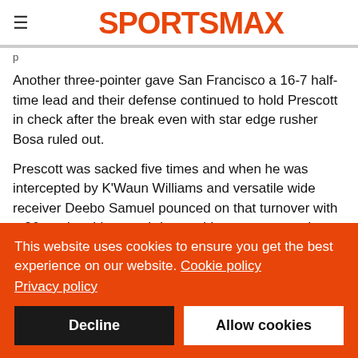SPORTSMAX
Another three-pointer gave San Francisco a 16-7 half-time lead and their defense continued to hold Prescott in check after the break even with star edge rusher Bosa ruled out.
Prescott was sacked five times and when he was intercepted by K'Waun Williams and versatile wide receiver Deebo Samuel pounced on that turnover with a 26-yard rushing touchdown a blowout appeared on the cards.
This website uses cookies to ensure you get the best experience on our website. Cookie policy Privacy policy
Decline
Allow cookies